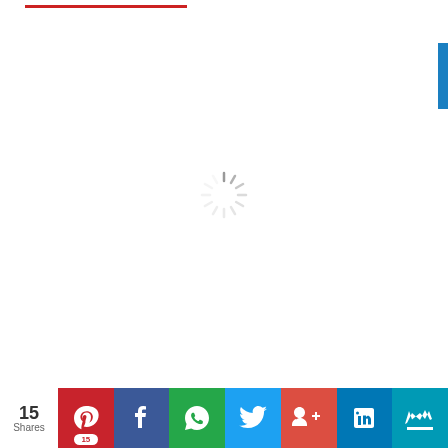[Figure (other): Red horizontal line decorative element at top of page]
[Figure (other): Blue vertical sidebar rectangle on right edge]
[Figure (other): Loading spinner (circular spokes animation) centered on page]
[Figure (other): Social sharing bar at bottom with share counts: Pinterest (15), Facebook, WhatsApp, Twitter, Google+, LinkedIn, Crown/Monarch. Shows 15 Shares total.]